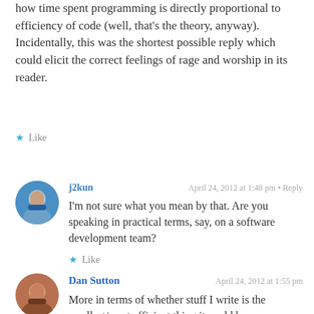how time spent programming is directly proportional to efficiency of code (well, that's the theory, anyway). Incidentally, this was the shortest possible reply which could elicit the correct feelings of rage and worship in its reader.
★ Like
j2kun
April 24, 2012 at 1:48 pm • Reply
I'm not sure what you mean by that. Are you speaking in practical terms, say, on a software development team?
★ Like
Dan Sutton
April 24, 2012 at 1:55 pm
More in terms of whether stuff I write is the smallest/most efficient thing it could be... occasionally I program as part of a software development team, but I've written most of the systems I've written alone; I do better...